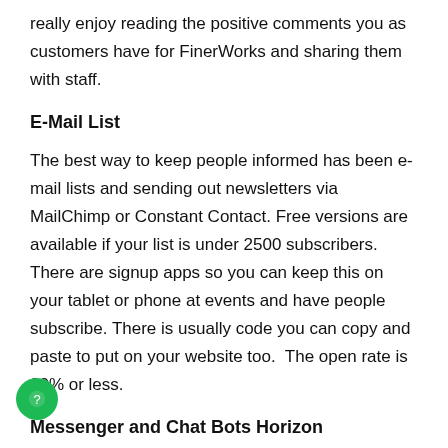really enjoy reading the positive comments you as customers have for FinerWorks and sharing them with staff.
E-Mail List
The best way to keep people informed has been e-mail lists and sending out newsletters via MailChimp or Constant Contact. Free versions are available if your list is under 2500 subscribers. There are signup apps so you can keep this on your tablet or phone at events and have people subscribe. There is usually code you can copy and paste to put on your website too.  The open rate is 20% or less.
Messenger and Chat Bots Horizon
I am still contemplating these. For me, they annoy me and I abandon a page all together.  But it may be that, I have reached that age where I like not having a million dings on my phone.  But if you are trying to reach a new set off young